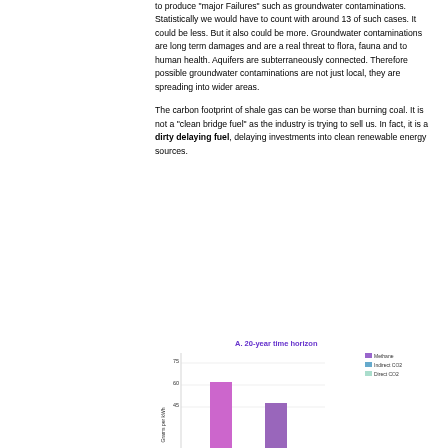to produce "major Failures" such as groundwater contaminations. Statistically we would have to count with around 13 of such cases. It could be less. But it also could be more. Groundwater contaminations are long term damages and are a real threat to flora, fauna and to human health. Aquifers are subterraneously connected. Therefore possible groundwater contaminations are not just local, they are spreading into wider areas.
The carbon footprint of shale gas can be worse than burning coal. It is not a "clean bridge fuel" as the industry is trying to sell us. In fact, it is a dirty delaying fuel, delaying investments into clean renewable energy sources.
[Figure (bar-chart): Stacked bar chart showing 20-year time horizon emissions. Legend shows Methane, Indirect CO2, Direct CO2. Partial view cut off at bottom.]